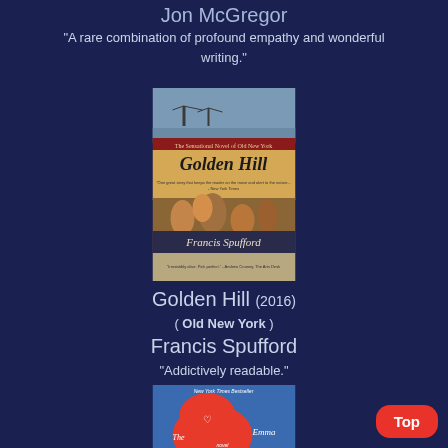Jon McGregor
"A rare combination of profound empathy and wonderful writing."
[Figure (photo): Book cover of Golden Hill by Francis Spufford - The Sensational Novel of Old New York]
Golden Hill (2016)
( Old New York )
Francis Spufford
"Addictively readable."
[Figure (photo): Partial book cover of a novel by Emma (partially visible)]